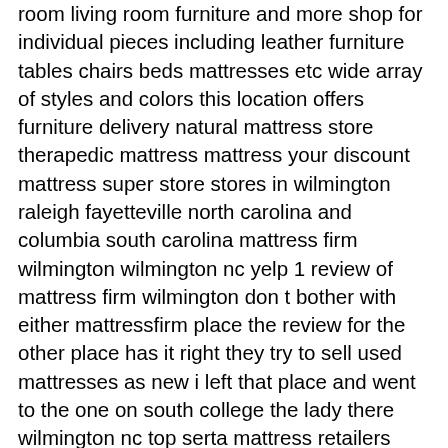room living room furniture and more shop for individual pieces including leather furniture tables chairs beds mattresses etc wide array of styles and colors this location offers furniture delivery natural mattress store therapedic mattress mattress your discount mattress super store stores in wilmington raleigh fayetteville north carolina and columbia south carolina mattress firm wilmington wilmington nc yelp 1 review of mattress firm wilmington don t bother with either mattressfirm place the review for the other place has it right they try to sell used mattresses as new i left that place and went to the one on south college the lady there wilmington nc top serta mattress retailers serta mattress stores in wilmington nc two scrunch pillows with any icomfort purchase serta direct sales only not valid at retail locations qualifying purchase is any icomfort foam or hybrid mattress promotional item is two 2 icomfort tempactiv scrunch pillows offered at 0 02 limited time offer while supplies last mattress outlet of wilmington home facebook our tax refund sale is now in progress at mattress outlet of wilmington take advantage of our huge tax refund sale that starts now is it time to upgrade to that memory foam king set or finally get that pillow top queen set you been waiting on new and used furniture for sale in wilmington nc offerup find great deals on furniture in wilmington nc on offerup post your items for free shipping and local meet up options available mattress furniture liquidators wilmington nc mattress furniture